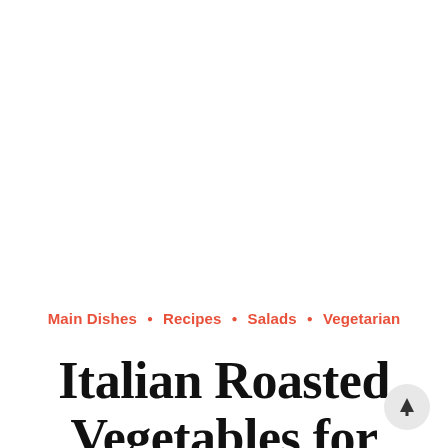Main Dishes • Recipes • Salads • Vegetarian
Italian Roasted Vegetables for Meal Prep